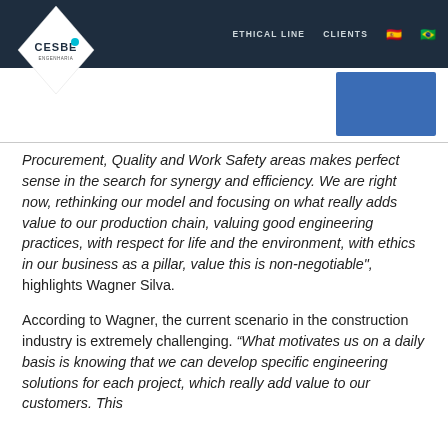CESBE | ETHICAL LINE | CLIENTS
[Figure (logo): CESBE logo inside a white diamond shape with teal accent]
[Figure (other): Blue rectangle in upper right corner of page]
Procurement, Quality and Work Safety areas makes perfect sense in the search for synergy and efficiency. We are right now, rethinking our model and focusing on what really adds value to our production chain, valuing good engineering practices, with respect for life and the environment, with ethics in our business as a pillar, value this is non-negotiable", highlights Wagner Silva.
According to Wagner, the current scenario in the construction industry is extremely challenging. “What motivates us on a daily basis is knowing that we can develop specific engineering solutions for each project, which really add value to our customers. This